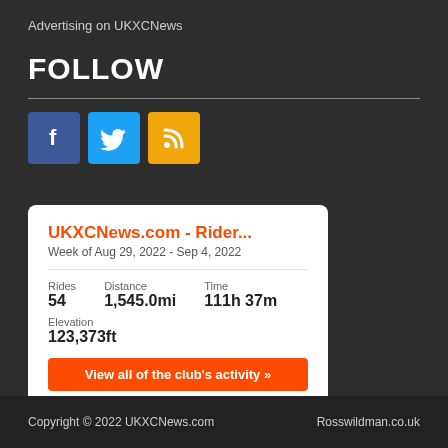Advertising on UKXCNews
FOLLOW
[Figure (infographic): Three social media icon buttons: Facebook (blue), Twitter (light blue), RSS feed (orange)]
[Figure (screenshot): Strava club widget card showing UKXCNews.com - Rider... Week of Aug 29, 2022 - Sep 4, 2022. Rides: 54, Distance: 1,545.0mi, Time: 111h 37m, Elevation: 123,373ft. Orange 'View all of the club's activity »' button. STRAVA logo in orange.]
Copyright © 2022 UKXCNews.com    Rosswildman.co.uk